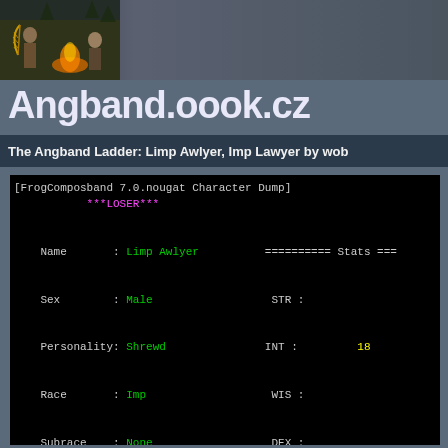[Figure (illustration): Fantasy illustration showing figures around a fire in a forest, muted colors]
Angband.oook.cz
The Angband Ladder: Limp Awlyer, Imp Lawyer by wob
[FrogComposband 7.0.nougat Character Dump]
***LOSER***

Name       : Limp Awlyer          ========== Stats ===
Sex        : Male                  STR :
Personality: Shrewd                INT :         18
Race       : Imp                   WIS :
Subrace    : None                  DEX :
Class      : Lawyer                CON :
                                   Chr :

Level      :            19         HP  :    -3/
Cur Exp    :          4442         SP  :    29.
Max Exp    :          4442         AC  :
Adv Exp    :          4532         Speed:

                                   ========== Skills =
Gold       :          3721         Melee     : Very G
Kills      :           281         Archery   : Good
Uniques    :             6         SavingThrow: Superb
Artifacts  :           0+1         Stealth   : Excell
                                   Perception : Superb
Game Day   :             2         Searching  : Excell
Game Time  :         17:42         Disarming  :